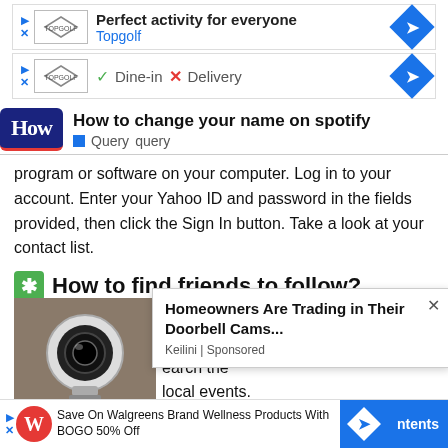[Figure (infographic): Topgolf advertisement banner with logo, text 'Perfect activity for everyone', 'Topgolf', blue arrow icon, and ad controls]
[Figure (infographic): Topgolf ad with logo, checkmark 'Dine-in', X mark 'Delivery', blue arrow icon]
[Figure (infographic): HowTech logo with dark navy background showing 'How']
How to change your name on spotify
Query  query
program or software on your computer. Log in to your account. Enter your Yahoo ID and password in the fields provided, then click the Sign In button. Take a look at your contact list.
How to find friends to follow?
Method 1 of 3. Put yourself in the right situations. Download the ... make good ... in some clubs ... earch the ... local events. Join onl... l media to promo...
[Figure (photo): Hand holding a camera light bulb security camera device]
[Figure (infographic): Popup ad: Homeowners Are Trading in Their Doorbell Cams... Keilini | Sponsored, with X close button]
[Figure (infographic): Bottom ad bar: Save On Walgreens Brand Wellness Products With BOGO 50% Off, Walgreens logo, blue arrow button, ntents button]